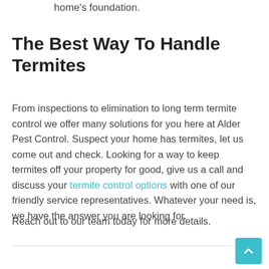home's foundation.
The Best Way To Handle Termites
From inspections to elimination to long term termite control we offer many solutions for you here at Alder Pest Control. Suspect your home has termites, let us come out and check. Looking for a way to keep termites off your property for good, give us a call and discuss your termite control options with one of our friendly service representatives. Whatever your need is, we have the answer you are looking for.
Reach out to our team today for more details.